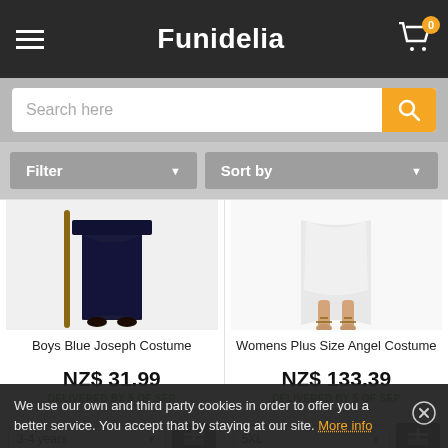Funidelia
Search here
Filter
Sort by
[Figure (photo): Boys Blue Joseph Costume product photo]
Boys Blue Joseph Costume
NZ$ 31.99
DELIVERED BY 5 OF SEP
[Figure (photo): Womens Plus Size Angel Costume product photo]
Womens Plus Size Angel Costume
NZ$ 133.39
DELIVERED BY 5 OF SEP
3-4 years
5XL
We use our own and third party cookies in order to offer you a better service. You accept that by staying at our site. More info